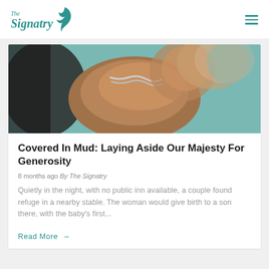The Signatry
[Figure (photo): Close-up photo of a clay or mud sculpture/figure with chains, teal background, dramatic lighting.]
Covered In Mud: Laying Aside Our Majesty For Generosity
8 months ago By The Signatry
Quietly in the night, with no public inn available, a couple found refuge in a nearby stable. The woman would give birth to a son there, with the baby's first...
Read More →